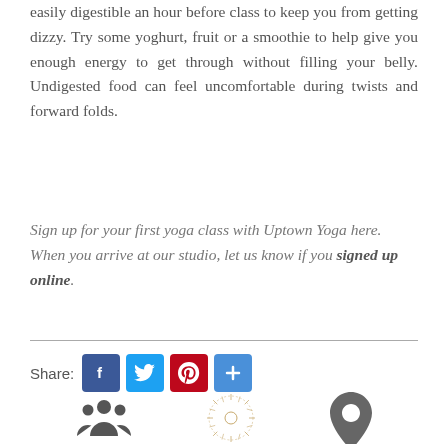easily digestible an hour before class to keep you from getting dizzy. Try some yoghurt, fruit or a smoothie to help give you enough energy to get through without filling your belly. Undigested food can feel uncomfortable during twists and forward folds.
Sign up for your first yoga class with Uptown Yoga here. When you arrive at our studio, let us know if you signed up online.
[Figure (infographic): Share bar with Facebook, Twitter, Pinterest, and plus social media buttons]
[Figure (infographic): Footer icons: group/people icon, decorative sun/wheel logo, location pin icon]